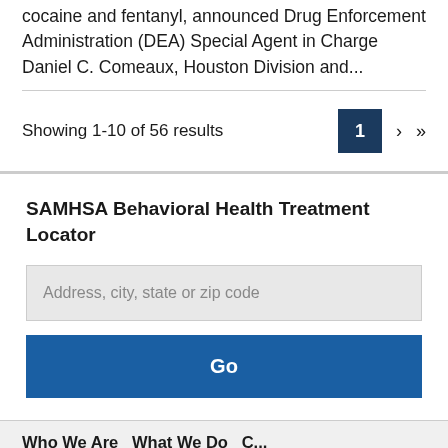cocaine and fentanyl, announced Drug Enforcement Administration (DEA) Special Agent in Charge Daniel C. Comeaux, Houston Division and...
Showing 1-10 of 56 results
SAMHSA Behavioral Health Treatment Locator
Address, city, state or zip code
Go
Who We Are   What We Do   C...